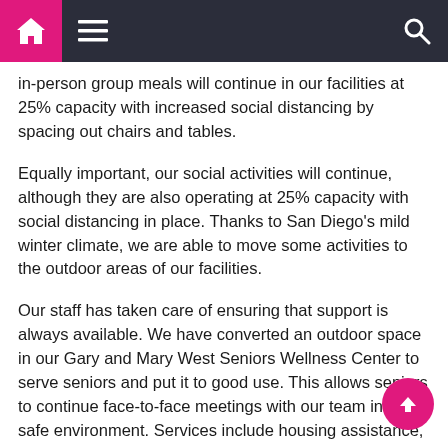Navigation bar with home, menu, and search icons
in-person group meals will continue in our facilities at 25% capacity with increased social distancing by spacing out chairs and tables.
Equally important, our social activities will continue, although they are also operating at 25% capacity with social distancing in place. Thanks to San Diego's mild winter climate, we are able to move some activities to the outdoor areas of our facilities.
Our staff has taken care of ensuring that support is always available. We have converted an outdoor space in our Gary and Mary West Seniors Wellness Center to serve seniors and put it to good use. This allows seniors to continue face-to-face meetings with our team in a safe environment. Services include housing assistance, access to nurses, and personalized case management to meet their individual